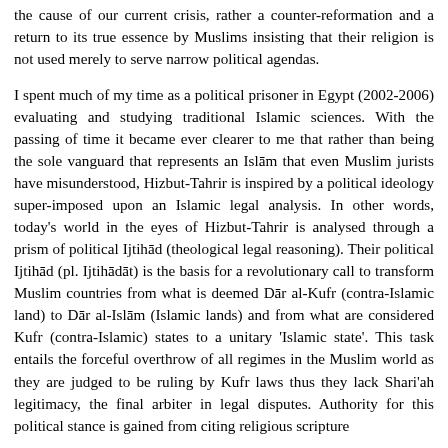the cause of our current crisis, rather a counter-reformation and a return to its true essence by Muslims insisting that their religion is not used merely to serve narrow political agendas.
I spent much of my time as a political prisoner in Egypt (2002-2006) evaluating and studying traditional Islamic sciences. With the passing of time it became ever clearer to me that rather than being the sole vanguard that represents an Islām that even Muslim jurists have misunderstood, Hizbut-Tahrir is inspired by a political ideology super-imposed upon an Islamic legal analysis. In other words, today's world in the eyes of Hizbut-Tahrir is analysed through a prism of political Ijtihād (theological legal reasoning). Their political Ijtihād (pl. Ijtihādāt) is the basis for a revolutionary call to transform Muslim countries from what is deemed Dār al-Kufr (contra-Islamic land) to Dār al-Islām (Islamic lands) and from what are considered Kufr (contra-Islamic) states to a unitary 'Islamic state'. This task entails the forceful overthrow of all regimes in the Muslim world as they are judged to be ruling by Kufr laws thus they lack Shari'ah legitimacy, the final arbiter in legal disputes. Authority for this political stance is gained from citing religious scripture